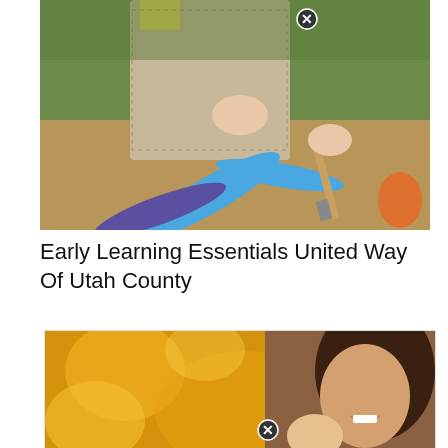[Figure (photo): Child playing in a sandbox with colorful toys including blue tubes and a paintbrush, wearing a mesh/net outfit over yellow shirt]
Early Learning Essentials United Way Of Utah County
[Figure (photo): Advertisement for Early Head Start featuring a mother holding a baby, with text overlay: 'Get the Advantage of Early Head Start', 'With service in Payson and Santaquin and all of Juab County', 'www.mountainlandheadstart.org', '801-375-7981']